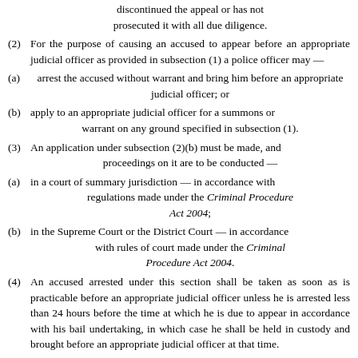discontinued the appeal or has not prosecuted it with all due diligence.
(2) For the purpose of causing an accused to appear before an appropriate judicial officer as provided in subsection (1) a police officer may —
(a) arrest the accused without warrant and bring him before an appropriate judicial officer; or
(b) apply to an appropriate judicial officer for a summons or warrant on any ground specified in subsection (1).
(3) An application under subsection (2)(b) must be made, and proceedings on it are to be conducted —
(a) in a court of summary jurisdiction — in accordance with regulations made under the Criminal Procedure Act 2004;
(b) in the Supreme Court or the District Court — in accordance with rules of court made under the Criminal Procedure Act 2004.
(4) An accused arrested under this section shall be taken as soon as is practicable before an appropriate judicial officer unless he is arrested less than 24 hours before the time at which he is due to appear in accordance with his bail undertaking, in which case he shall be held in custody and brought before an appropriate judicial officer at that time.